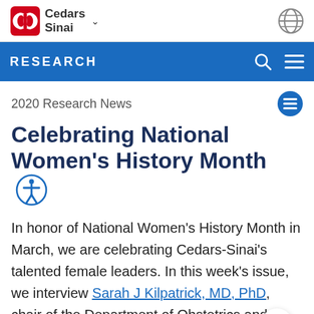Cedars Sinai [logo] RESEARCH
2020 Research News
Celebrating National Women's History Month
In honor of National Women's History Month in March, we are celebrating Cedars-Sinai's talented female leaders. In this week's issue, we interview Sarah J Kilpatrick, MD, PhD, chair of the Department of Obstetrics and Gynecology, and Karen L. Reckamp, MD,